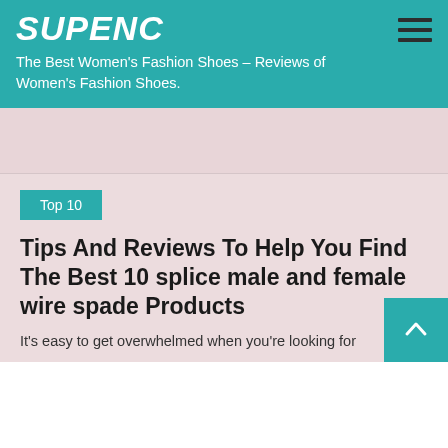SUPENC – The Best Women's Fashion Shoes – Reviews of Women's Fashion Shoes.
Top 10
Tips And Reviews To Help You Find The Best 10 splice male and female wire spade Products
It's easy to get overwhelmed when you're looking for the right...